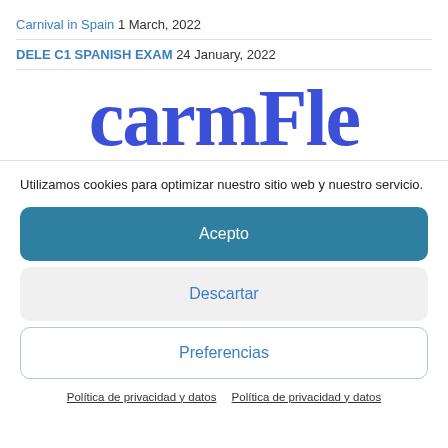Carnival in Spain 1 March, 2022
DELE C1 SPANISH EXAM 24 January, 2022
[Figure (logo): Partial logo text reading 'carmFle' in large bold serif blue font, cropped]
Utilizamos cookies para optimizar nuestro sitio web y nuestro servicio.
Acepto
Descartar
Preferencias
Política de privacidad y datos   Política de privacidad y datos